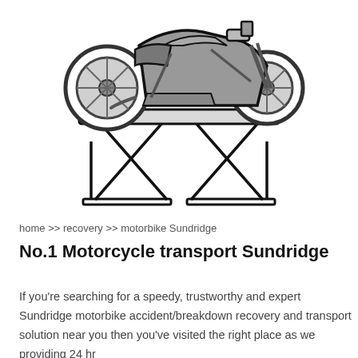[Figure (illustration): Illustration of a motorcycle (cafe racer style, grey and black) mounted on a hydraulic scissor lift/jack stand]
home >> recovery >> motorbike Sundridge
No.1 Motorcycle transport Sundridge
If you're searching for a speedy, trustworthy and expert Sundridge motorbike accident/breakdown recovery and transport solution near you then you've visited the right place as we providing 24 hr